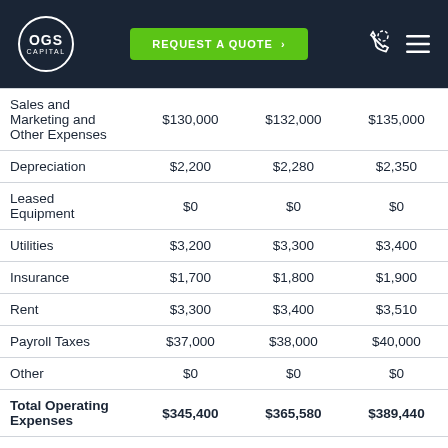OGS Capital | REQUEST A QUOTE
|  | Year 1 | Year 2 | Year 3 |
| --- | --- | --- | --- |
| Sales and Marketing and Other Expenses | $130,000 | $132,000 | $135,000 |
| Depreciation | $2,200 | $2,280 | $2,350 |
| Leased Equipment | $0 | $0 | $0 |
| Utilities | $3,200 | $3,300 | $3,400 |
| Insurance | $1,700 | $1,800 | $1,900 |
| Rent | $3,300 | $3,400 | $3,510 |
| Payroll Taxes | $37,000 | $38,000 | $40,000 |
| Other | $0 | $0 | $0 |
| Total Operating Expenses | $345,400 | $365,580 | $389,440 |
| Profit Before Interest and | $85,600 | $202,538 | $336,174 |